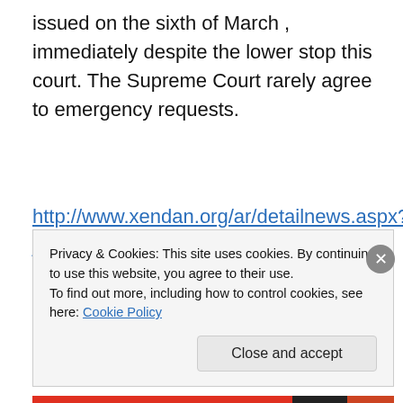issued on the sixth of March , immediately despite the lower stop this court. The Supreme Court rarely agree to emergency requests.
http://www.xendan.org/ar/detailnews.aspx?jimare=8805&babet=72&relat=8030
Privacy & Cookies: This site uses cookies. By continuing to use this website, you agree to their use.
To find out more, including how to control cookies, see here: Cookie Policy
Close and accept